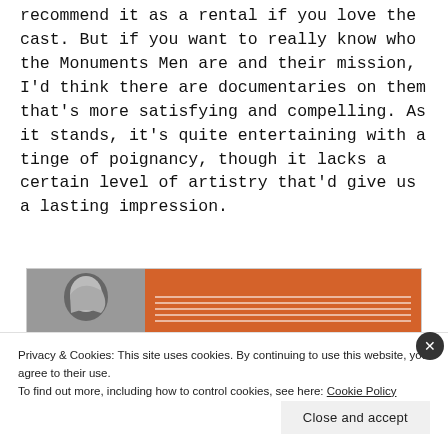recommend it as a rental if you love the cast. But if you want to really know who the Monuments Men are and their mission, I'd think there are documentaries on them that's more satisfying and compelling. As it stands, it's quite entertaining with a tinge of poignancy, though it lacks a certain level of artistry that'd give us a lasting impression.
[Figure (other): A card/banner with a black-and-white photo of a person on the left and an orange background with horizontal white lines on the right]
Privacy & Cookies: This site uses cookies. By continuing to use this website, you agree to their use.
To find out more, including how to control cookies, see here: Cookie Policy
Close and accept